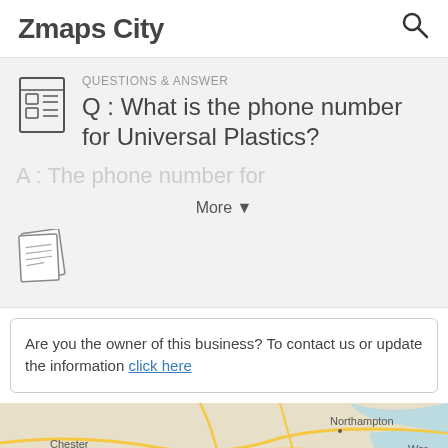Zmaps City
QUESTIONS & ANSWER
Q : What is the phone number for Universal Plastics?
A : The phone number for
More ▼
Are you the owner of this business? To contact us or update the information click here
[Figure (map): Street map showing area around Northampton, Chester, and Warrington]